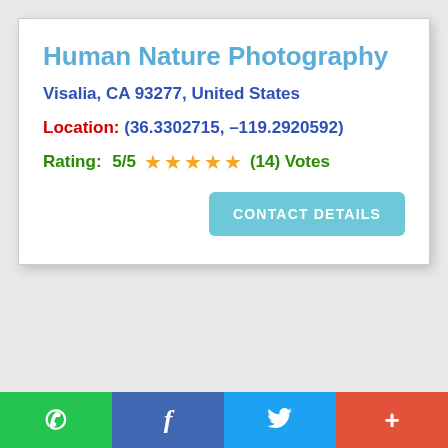Human Nature Photography
Visalia, CA 93277, United States
Location: (36.3302715, –119.2920592)
Rating: 5/5 ★★★★★ (14) Votes
CONTACT DETAILS
Social share bar: WhatsApp, Facebook, Twitter, Plus